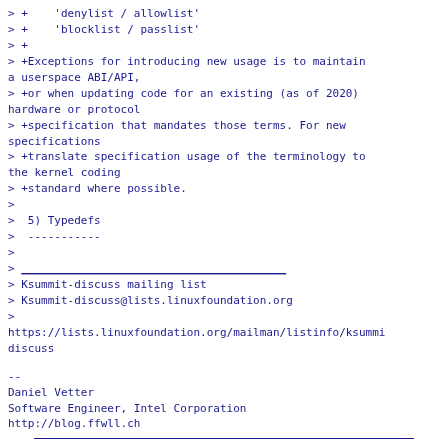> +    'denylist / allowlist'
> +    'blocklist / passlist'
> +
> +Exceptions for introducing new usage is to maintain a userspace ABI/API,
> +or when updating code for an existing (as of 2020) hardware or protocol
> +specification that mandates those terms. For new specifications
> +translate specification usage of the terminology to the kernel coding
> +standard where possible.
>
>  5) Typedefs
>  -----------
>
> ________________________________________
> Ksummit-discuss mailing list
> Ksummit-discuss@lists.linuxfoundation.org
>
https://lists.linuxfoundation.org/mailman/listinfo/ksummit-discuss
--
Daniel Vetter
Software Engineer, Intel Corporation
http://blog.ffwll.ch